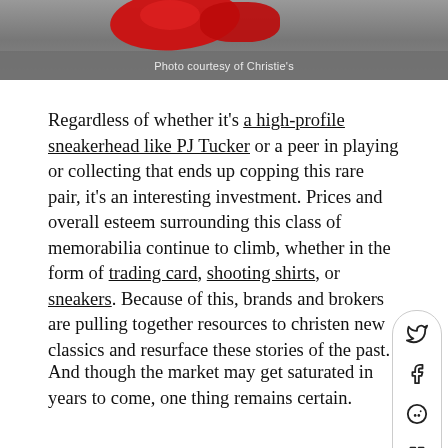[Figure (photo): Partial photo of sneakers with red color, photo credit bar at bottom reading 'Photo courtesy of Christie's']
Photo courtesy of Christie's
Regardless of whether it's a high-profile sneakerhead like PJ Tucker or a peer in playing or collecting that ends up copping this rare pair, it's an interesting investment. Prices and overall esteem surrounding this class of memorabilia continue to climb, whether in the form of trading card, shooting shirts, or sneakers. Because of this, brands and brokers are pulling together resources to christen new classics and resurface these stories of the past.
And though the market may get saturated in years to come, one thing remains certain.